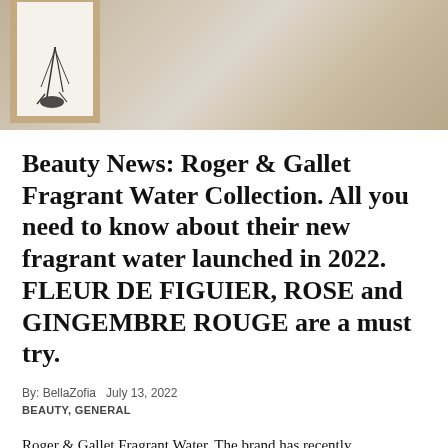[Figure (photo): A framed artwork or print leaning against a warm beige wall. The wooden frame is light tan/blonde. The artwork inside appears to be a sketch or drawing with thin black lines, partially visible. The wall has warm neutral tones.]
Beauty News: Roger & Gallet Fragrant Water Collection. All you need to know about their new fragrant water launched in 2022. FLEUR DE FIGUIER, ROSE and GINGEMBRE ROUGE are a must try.
By: BellaZofia  July 13, 2022
BEAUTY, GENERAL
Roger & Gallet Fragrant Water. The brand has recently